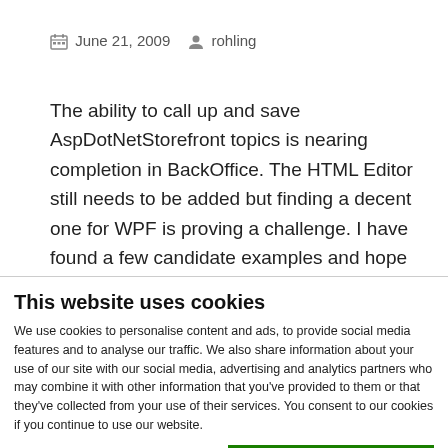June 21, 2009  rohling
The ability to call up and save AspDotNetStorefront topics is nearing completion in BackOffice. The HTML Editor still needs to be added but finding a decent one for WPF is proving a challenge. I have found a few candidate examples and hope to roll those into a useful tool here that inherits the CSS styles and artefacts of
This website uses cookies
We use cookies to personalise content and ads, to provide social media features and to analyse our traffic. We also share information about your use of our site with our social media, advertising and analytics partners who may combine it with other information that you've provided to them or that they've collected from your use of their services. You consent to our cookies if you continue to use our website.
OK
Necessary  Preferences  Statistics  Marketing  Show details